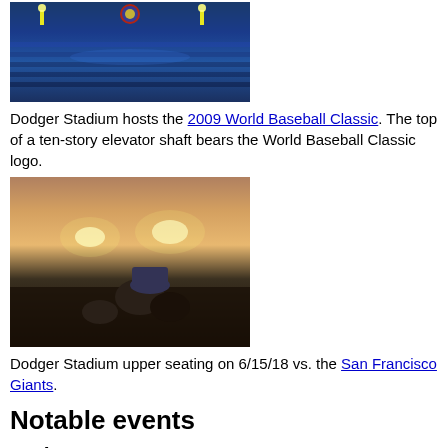[Figure (photo): Dodger Stadium interior view showing crowded stands and World Baseball Classic logo at the top of elevator shaft]
Dodger Stadium hosts the 2009 World Baseball Classic. The top of a ten-story elevator shaft bears the World Baseball Classic logo.
[Figure (photo): Dodger Stadium upper seating area at night on 6/15/18 vs. the San Francisco Giants, showing fans and field lights]
Dodger Stadium upper seating on 6/15/18 vs. the San Francisco Giants.
Notable events
Park usage
Dodger Stadium has also staged other sporting events such as